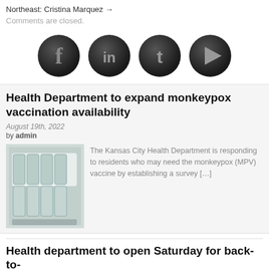Northeast: Cristina Marquez →
Comments are closed.
[Figure (illustration): Four dark circular social media icons: Facebook (f), LinkedIn (in), Twitter (t), and a play button (▶)]
Health Department to expand monkeypox vaccination availability
August 19th, 2022
by admin
[Figure (photo): Photo of vaccine vials in a white tray/box, labeled smallpox and monkeypox vaccine]
The Kansas City Health Department is responding to residents who may need the monkeypox (MPV) vaccine by establishing a survey […]
Health department to open Saturday for back-to-